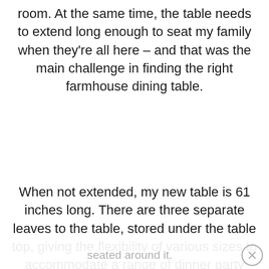room. At the same time, the table needs to extend long enough to seat my family when they're all here – and that was the main challenge in finding the right farmhouse dining table.
When not extended, my new table is 61 inches long. There are three separate leaves to the table, stored under the table top, giving the flexibility of various sizes to accommodate a range of dinner party sizes.
When fully extended, the table is 133 inches long. Perfect! This room is long and somewhat narrow. When everyone is over, the table will comfortably fit with everyone seated around it.